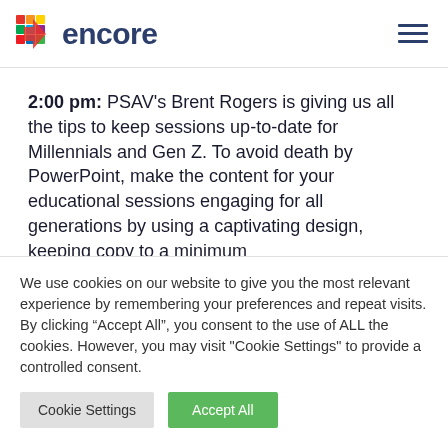encore
2:00 pm: PSAV’s Brent Rogers is giving us all the tips to keep sessions up-to-date for Millennials and Gen Z. To avoid death by PowerPoint, make the content for your educational sessions engaging for all generations by using a captivating design, keeping copy to a minimum...
We use cookies on our website to give you the most relevant experience by remembering your preferences and repeat visits. By clicking “Accept All”, you consent to the use of ALL the cookies. However, you may visit "Cookie Settings" to provide a controlled consent.